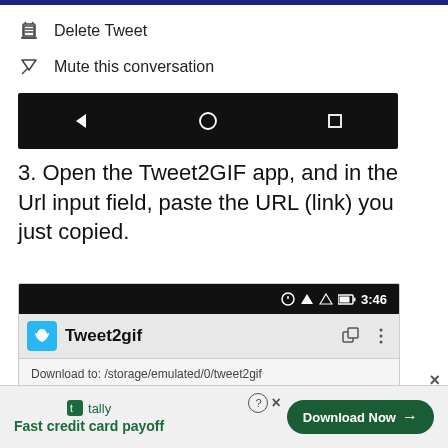[Figure (screenshot): Twitter dropdown menu showing 'Delete Tweet' and 'Mute this conversation' options, followed by Android navigation bar (back, home, recents)]
3. Open the Tweet2GIF app, and in the Url input field, paste the URL (link) you just copied.
[Figure (screenshot): Tweet2gif Android app screenshot with status bar showing 3:46 time, app title 'Tweet2gif', and URL bar showing 'Download to: /storage/emulated/0/tweet2gif']
[Figure (screenshot): Advertisement banner: Tally app - 'Fast credit card payoff' with 'Download Now' button]